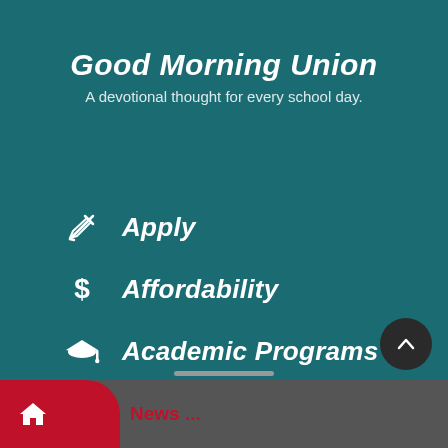Good Morning Union
A devotional thought for every school day.
Apply
Affordability
Academic Programs
Get directions
News ...